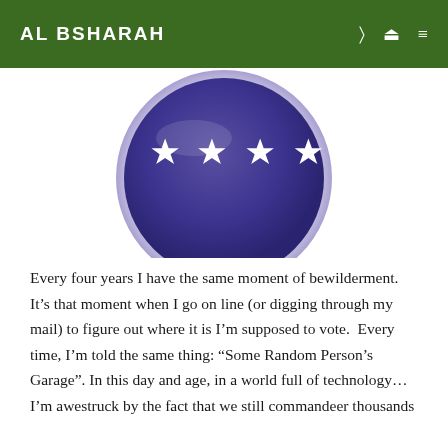AL BSHARAH
[Figure (photo): A circular button/badge with a dark purple/blue background featuring four white five-pointed stars arranged horizontally across the center of the button.]
Every four years I have the same moment of bewilderment.  It’s that moment when I go on line (or digging through my mail) to figure out where it is I’m supposed to vote.  Every time, I’m told the same thing: “Some Random Person’s Garage”. In this day and age, in a world full of technology…I’m awestruck by the fact that we still commandeer thousands